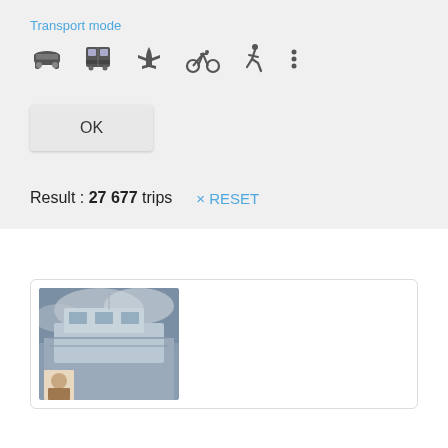Transport mode
[Figure (screenshot): Transport mode icon bar with car, bus, airplane, bicycle, walking person, and more options (three dots) icons]
OK
Result : 27 677 trips   × RESET
[Figure (photo): Photo of a boat/yacht with cloudy sky background, with a small portrait photo overlapping at bottom left]